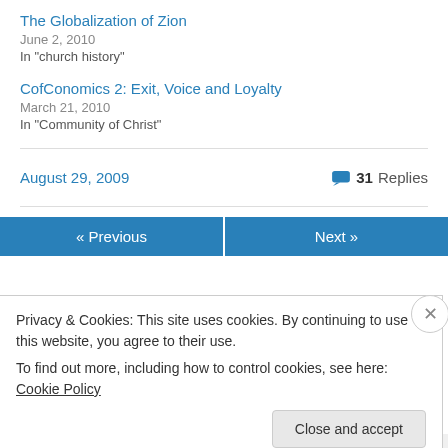The Globalization of Zion
June 2, 2010
In "church history"
CofConomics 2: Exit, Voice and Loyalty
March 21, 2010
In "Community of Christ"
August 29, 2009
31 Replies
« Previous
Next »
Privacy & Cookies: This site uses cookies. By continuing to use this website, you agree to their use.
To find out more, including how to control cookies, see here: Cookie Policy
Close and accept